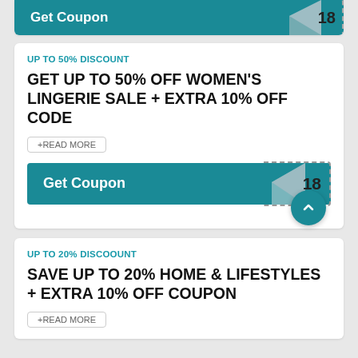[Figure (screenshot): Top coupon bar snippet partially visible at top of page showing 'Get Coupon' button with number 18]
UP TO 50% DISCOUNT
GET UP TO 50% OFF WOMEN'S LINGERIE SALE + EXTRA 10% OFF CODE
+READ MORE
Get Coupon 18
UP TO 20% DISCOOUNT
SAVE UP TO 20% HOME & LIFESTYLES + EXTRA 10% OFF COUPON
+READ MORE